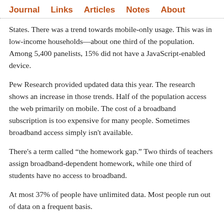Journal   Links   Articles   Notes   About
States. There was a trend towards mobile-only usage. This was in low-income households—about one third of the population. Among 5,400 panelists, 15% did not have a JavaScript-enabled device.
Pew Research provided updated data this year. The research shows an increase in those trends. Half of the population access the web primarily on mobile. The cost of a broadband subscription is too expensive for many people. Sometimes broadband access simply isn't available.
There's a term called “the homework gap.” Two thirds of teachers assign broadband-dependent homework, while one third of students have no access to broadband.
At most 37% of people have unlimited data. Most people run out of data on a frequent basis.